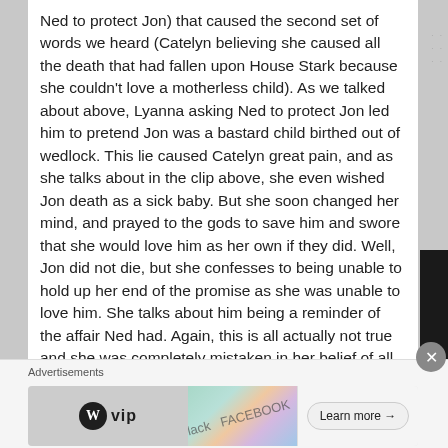Ned to protect Jon) that caused the second set of words we heard (Catelyn believing she caused all the death that had fallen upon House Stark because she couldn't love a motherless child). As we talked about above, Lyanna asking Ned to protect Jon led him to pretend Jon was a bastard child birthed out of wedlock. This lie caused Catelyn great pain, and as she talks about in the clip above, she even wished Jon death as a sick baby. But she soon changed her mind, and prayed to the gods to save him and swore that she would love him as her own if they did. Well, Jon did not die, but she confesses to being unable to hold up her end of the promise as she was unable to love him. She talks about him being a reminder of the affair Ned had. Again, this is all actually not true and she was completely mistaken in her belief of all of this (as most people were). In the end, like Lyanna, Catelyn died trying to protect her children, and seeing both their statues with some of
Advertisements
[Figure (other): Advertisement banner featuring WordPress VIP logo on the left, colorful social media app icons in the center, and a 'Learn more →' button on the right]